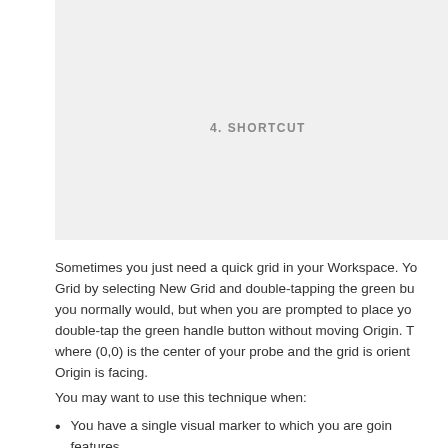[Figure (screenshot): A screenshot or image placeholder in a light gray box occupying the upper right portion of the page]
4. SHORTCUT
Sometimes you just need a quick grid in your Workspace. Yo… Grid by selecting New Grid and double-tapping the green bu… you normally would, but when you are prompted to place yo… double-tap the green handle button without moving Origin. T… where (0,0) is the center of your probe and the grid is orient… Origin is facing.
You may want to use this technique when:
You have a single visual marker to which you are goin… features